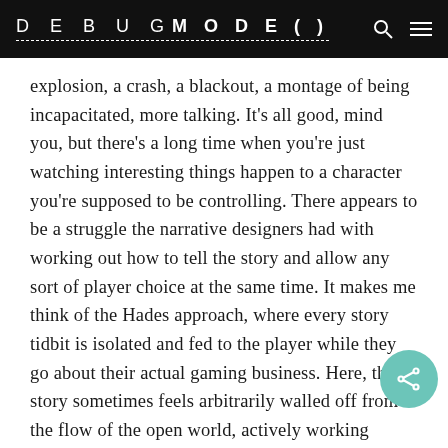DEBUGMODE()
explosion, a crash, a blackout, a montage of being incapacitated, more talking. It’s all good, mind you, but there’s a long time when you’re just watching interesting things happen to a character you’re supposed to be controlling. There appears to be a struggle the narrative designers had with working out how to tell the story and allow any sort of player choice at the same time. It makes me think of the Hades approach, where every story tidbit is isolated and fed to the player while they go about their actual gaming business. Here, the story sometimes feels arbitrarily walled off from the flow of the open world, actively working against the pillars it’s built around.